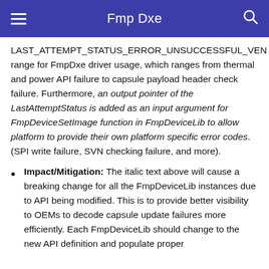Fmp Dxe
LAST_ATTEMPT_STATUS_ERROR_UNSUCCESSFUL_VEN range for FmpDxe driver usage, which ranges from thermal and power API failure to capsule payload header check failure. Furthermore, an output pointer of the LastAttemptStatus is added as an input argument for FmpDeviceSetImage function in FmpDeviceLib to allow platform to provide their own platform specific error codes. (SPI write failure, SVN checking failure, and more).
Impact/Mitigation: The italic text above will cause a breaking change for all the FmpDeviceLib instances due to API being modified. This is to provide better visibility to OEMs to decode capsule update failures more efficiently. Each FmpDeviceLib should change to the new API definition and populate proper